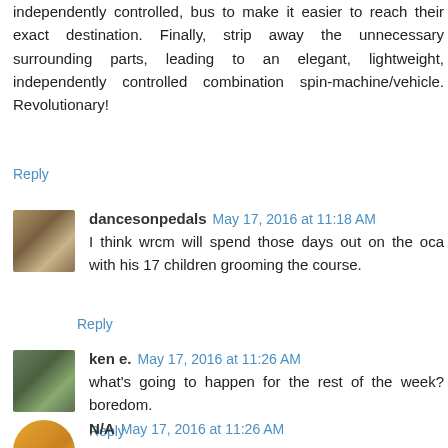independently controlled, bus to make it easier to reach their exact destination. Finally, strip away the unnecessary surrounding parts, leading to an elegant, lightweight, independently controlled combination spin-machine/vehicle. Revolutionary!
Reply
dancesonpedals May 17, 2016 at 11:18 AM
I think wrcm will spend those days out on the oca with his 17 children grooming the course.
Reply
ken e. May 17, 2016 at 11:26 AM
what's going to happen for the rest of the week? boredom.
Reply
N/A May 17, 2016 at 11:26 AM